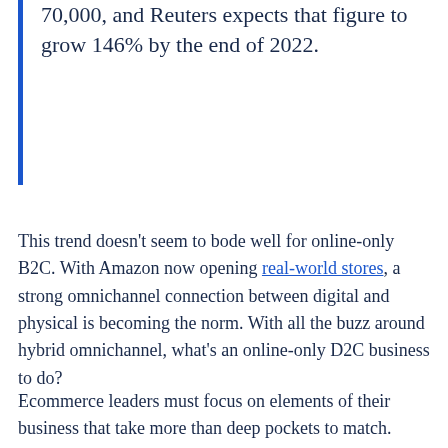70,000, and Reuters expects that figure to grow 146% by the end of 2022.
This trend doesn't seem to bode well for online-only B2C. With Amazon now opening real-world stores, a strong omnichannel connection between digital and physical is becoming the norm. With all the buzz around hybrid omnichannel, what's an online-only D2C business to do?
Ecommerce leaders must focus on elements of their business that take more than deep pockets to match.